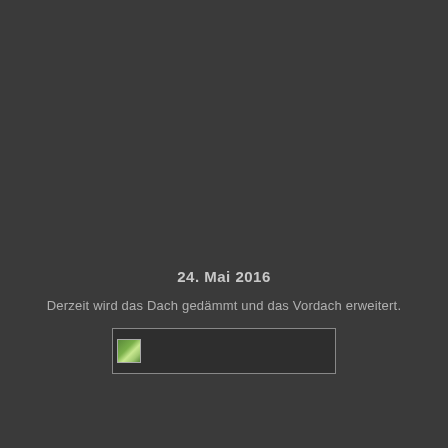24. Mai 2016
Derzeit wird das Dach gedämmt und das Vordach erweitert.
[Figure (photo): Broken/missing image placeholder showing a small thumbnail icon on a dark background]